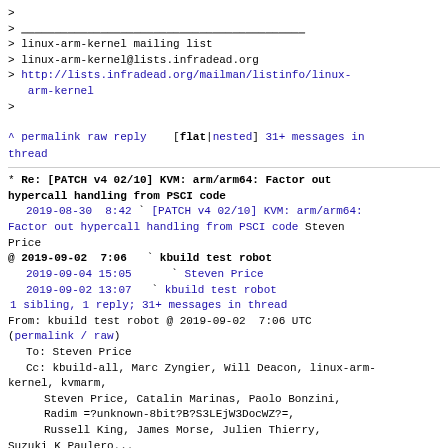>
> ___________________________________________
> linux-arm-kernel mailing list
> linux-arm-kernel@lists.infradead.org
> http://lists.infradead.org/mailman/listinfo/linux-arm-kernel
>
^ permalink raw reply   [flat|nested] 31+ messages in thread
* Re: [PATCH v4 02/10] KVM: arm/arm64: Factor out hypercall handling from PSCI code
  2019-08-30  8:42 ` [PATCH v4 02/10] KVM: arm/arm64: Factor out hypercall handling from PSCI code Steven Price
@ 2019-09-02  7:06   ` kbuild test robot
  2019-09-04 15:05     ` Steven Price
  2019-09-02 13:07   ` kbuild test robot
  1 sibling, 1 reply; 31+ messages in thread
From: kbuild test robot @ 2019-09-02  7:06 UTC
(permalink / raw)
  To: Steven Price
  Cc: kbuild-all, Marc Zyngier, Will Deacon, linux-arm-kernel, kvmarm,
      Steven Price, Catalin Marinas, Paolo Bonzini,
      Radim =?unknown-8bit?B?S3LEjW3DocWZ?=,
      Russell King, James Morse, Julien Thierry,
  Suzuki K Paulero...